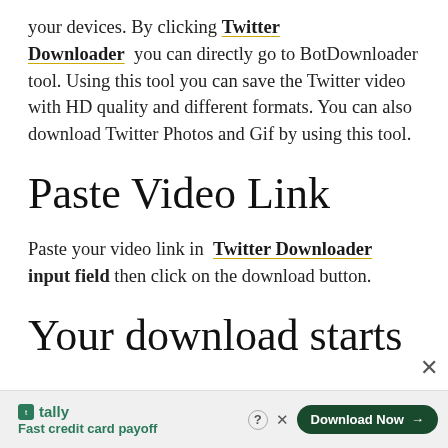your devices. By clicking Twitter Downloader you can directly go to BotDownloader tool. Using this tool you can save the Twitter video with HD quality and different formats. You can also download Twitter Photos and Gif by using this tool.
Paste Video Link
Paste your video link in Twitter Downloader input field then click on the download button.
Your download starts
tally
Fast credit card payoff
Download Now →